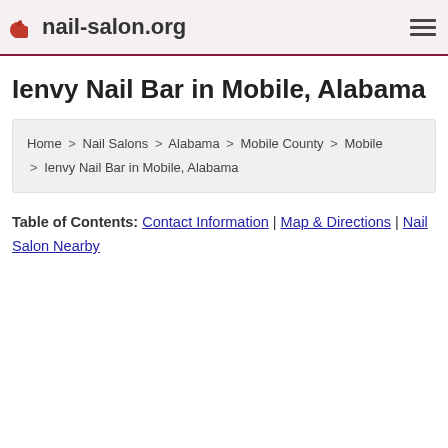nail-salon.org
Ienvy Nail Bar in Mobile, Alabama
Home > Nail Salons > Alabama > Mobile County > Mobile > Ienvy Nail Bar in Mobile, Alabama
Table of Contents: Contact Information | Map & Directions | Nail Salon Nearby